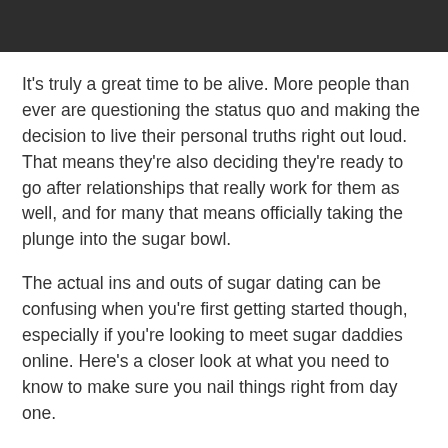[Figure (photo): Photo of a person in a dark outfit, cropped to show upper portion only, serving as a header image]
It's truly a great time to be alive. More people than ever are questioning the status quo and making the decision to live their personal truths right out loud. That means they're also deciding they're ready to go after relationships that really work for them as well, and for many that means officially taking the plunge into the sugar bowl.
The actual ins and outs of sugar dating can be confusing when you're first getting started though, especially if you're looking to meet sugar daddies online. Here's a closer look at what you need to know to make sure you nail things right from day one.
Understanding Sugar